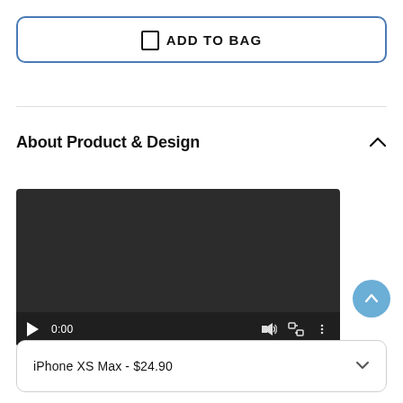ADD TO BAG
About Product & Design
[Figure (screenshot): Video player with dark background showing 0:00 timestamp and media controls (play, volume, fullscreen, more)]
iPhone XS Max - $24.90